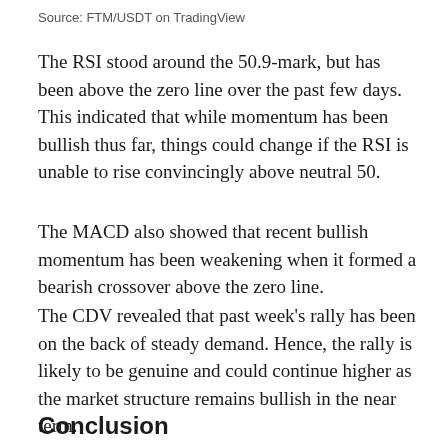Source: FTM/USDT on TradingView
The RSI stood around the 50.9-mark, but has been above the zero line over the past few days. This indicated that while momentum has been bullish thus far, things could change if the RSI is unable to rise convincingly above neutral 50.
The MACD also showed that recent bullish momentum has been weakening when it formed a bearish crossover above the zero line.
The CDV revealed that past week's rally has been on the back of steady demand. Hence, the rally is likely to be genuine and could continue higher as the market structure remains bullish in the near term.
Conclusion